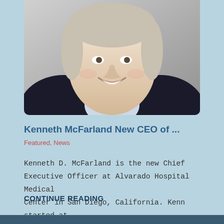[Figure (photo): Headshot of a smiling middle-aged man in a suit with a light blue shirt, set against a gray background. The photo is cropped to show from chest up.]
Kenneth McFarland New CEO of ...
Featured, News
Kenneth D. McFarland is the new Chief Executive Officer at Alvarado Hospital Medical Center in San Diego, California. Kenn started at Alvarado on ...
CONTINUE READING